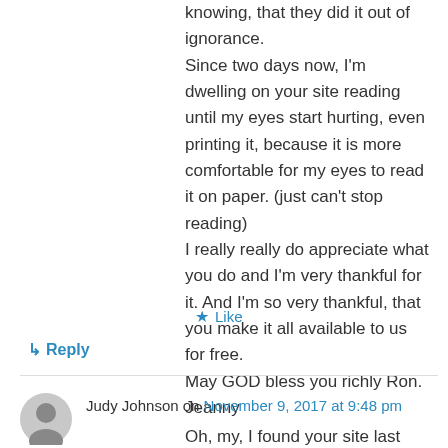knowing, that they did it out of ignorance.
Since two days now, I'm dwelling on your site reading until my eyes start hurting, even printing it, because it is more comfortable for my eyes to read it on paper. (just can't stop reading)
I really really do appreciate what you do and I'm very thankful for it. And I'm so very thankful, that you make it all available to us for free.
May GOD bless you richly Ron.
Jeanny
★ Like
↳ Reply
Judy Johnson on November 9, 2017 at 9:48 pm
Oh, my, I found your site last night and except